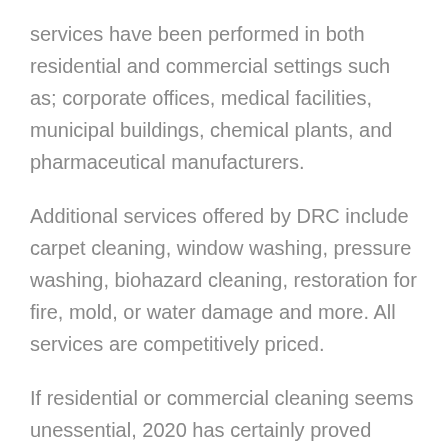services have been performed in both residential and commercial settings such as; corporate offices, medical facilities, municipal buildings, chemical plants, and pharmaceutical manufacturers.
Additional services offered by DRC include carpet cleaning, window washing, pressure washing, biohazard cleaning, restoration for fire, mold, or water damage and more. All services are competitively priced.
If residential or commercial cleaning seems unessential, 2020 has certainly proved otherwise. As Parker explains, “A lot of people don’t recognize the value behind cleaning services, but it’s something that needs to be done to ensure a clean and safe environment.” For over 80 years, DRC Cleaning Solutions has been committed to doing the job